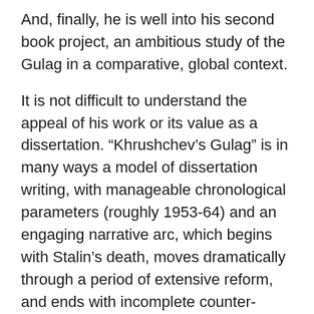And, finally, he is well into his second book project, an ambitious study of the Gulag in a comparative, global context.
It is not difficult to understand the appeal of his work or its value as a dissertation. “Khrushchev’s Gulag” is in many ways a model of dissertation writing, with manageable chronological parameters (roughly 1953-64) and an engaging narrative arc, which begins with Stalin’s death, moves dramatically through a period of extensive reform, and ends with incomplete counter-reforms. Most importantly, however, each chapter brings something new and important to the historiography of the camps during this period.